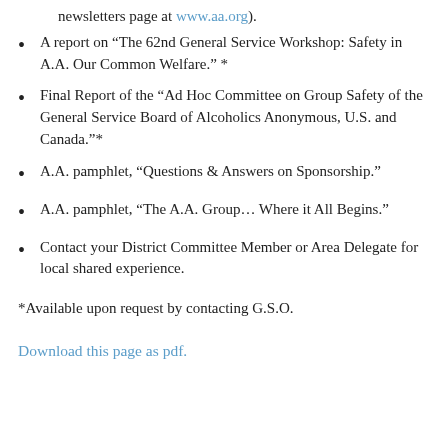newsletters page at www.aa.org).
A report on “The 62nd General Service Workshop: Safety in A.A. Our Common Welfare.” *
Final Report of the “Ad Hoc Committee on Group Safety of the General Service Board of Alcoholics Anonymous, U.S. and Canada.”*
A.A. pamphlet, “Questions & Answers on Sponsorship.”
A.A. pamphlet, “The A.A. Group… Where it All Begins.”
Contact your District Committee Member or Area Delegate for local shared experience.
*Available upon request by contacting G.S.O.
Download this page as pdf.